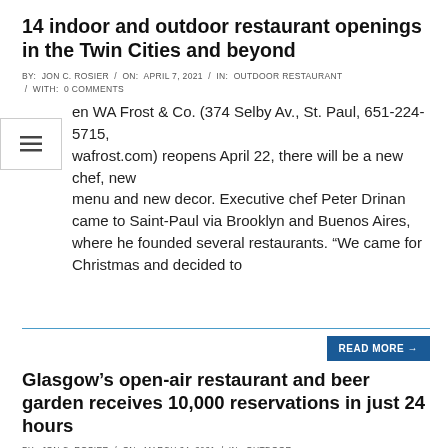14 indoor and outdoor restaurant openings in the Twin Cities and beyond
BY: JON C. ROSIER / ON: APRIL 7, 2021 / IN: OUTDOOR RESTAURANT / WITH: 0 COMMENTS
en WA Frost & Co. (374 Selby Av., St. Paul, 651-224-5715, wafrost.com) reopens April 22, there will be a new chef, new menu and new decor. Executive chef Peter Drinan came to Saint-Paul via Brooklyn and Buenos Aires, where he founded several restaurants. “We came for Christmas and decided to
READ MORE →
Glasgow’s open-air restaurant and beer garden receives 10,000 reservations in just 24 hours
BY: JON C. ROSIER / ON: MARCH 24, 2021 / IN: OUTDOOR RESTAURANT / WITH: 0 COMMENTS
One of Glasgow’s largest beer gardens has received more than 10,000 reservations in just 24 hours after reopening announced